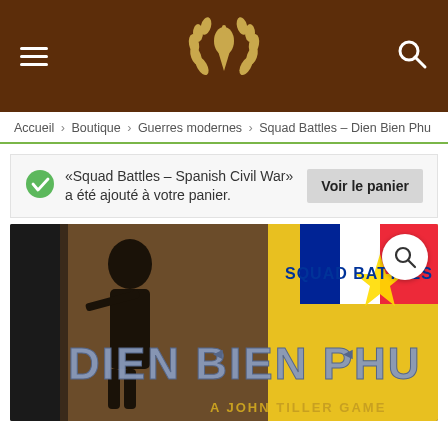Navigation header with menu, logo, and search icon
Accueil > Boutique > Guerres modernes > Squad Battles – Dien Bien Phu
«Squad Battles – Spanish Civil War» a été ajouté à votre panier.  [Voir le panier]
[Figure (photo): Product image of Squad Battles Dien Bien Phu game CD with soldier and Vietnamese flag imagery, text 'SQUAD BATTLES' and 'DIEN BIEN PHU' and 'A JOHN TILLER GAME']